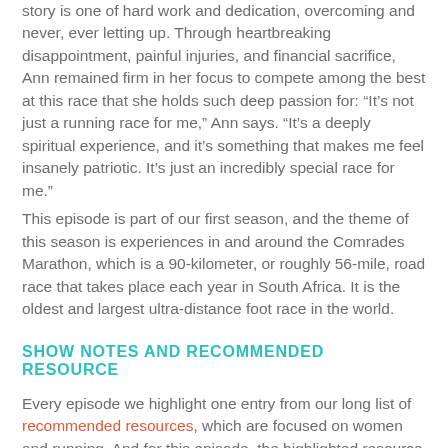story is one of hard work and dedication, overcoming and never, ever letting up. Through heartbreaking disappointment, painful injuries, and financial sacrifice, Ann remained firm in her focus to compete among the best at this race that she holds such deep passion for: “It’s not just a running race for me,” Ann says. “It’s a deeply spiritual experience, and it’s something that makes me feel insanely patriotic. It’s just an incredibly special race for me.”
This episode is part of our first season, and the theme of this season is experiences in and around the Comrades Marathon, which is a 90-kilometer, or roughly 56-mile, road race that takes place each year in South Africa. It is the oldest and largest ultra-distance foot race in the world.
SHOW NOTES AND RECOMMENDED RESOURCE
Every episode we highlight one entry from our long list of recommended resources, which are focused on women and running. And for this episode, the highlighted resource is Lessons In Badassery, a